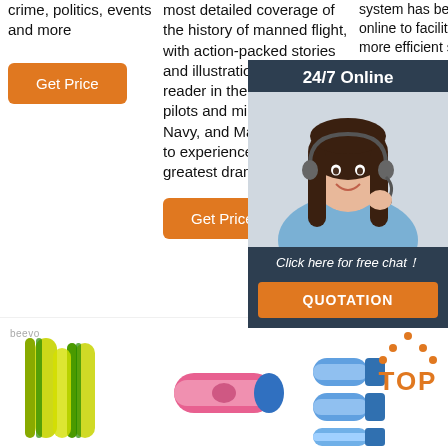crime, politics, events and more
[Figure (other): Orange 'Get Price' button]
most detailed coverage of the history of manned flight, with action-packed stories and illustrations that put the reader in the cockpit with pilots and military (Army, Navy, and Marines) aviators to experience aviation's greatest dramas.
[Figure (other): Orange 'Get Price' button]
system has been put online to facilitate a more efficient service to the IDM research groups regarding logging, maintenance and the subsequent monitoring
[Figure (other): 24/7 Online chat widget with customer service photo, 'Click here for free chat!' text and QUOTATION button]
[Figure (other): Orange 'Get Price' button (partially visible)]
[Figure (photo): Beevo branded product — yellow-green heat shrink tubing cables]
[Figure (photo): Pink heat shrink connector with blue fitting]
[Figure (photo): Blue heat shrink connectors/terminals]
[Figure (logo): TOP badge with orange dots and orange TOP text]